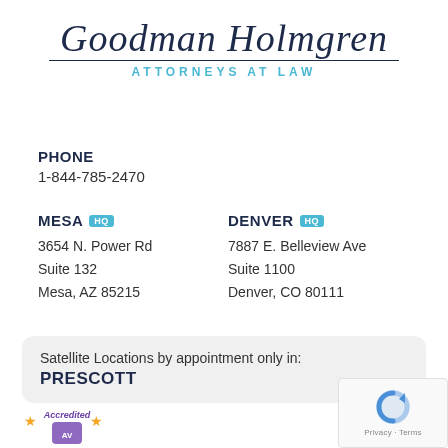[Figure (logo): Goodman Holmgren Attorneys at Law logo with script text and blue tagline]
PHONE
1-844-785-2470
MESA HQ
3654 N. Power Rd
Suite 132
Mesa, AZ 85215
DENVER HQ
7887 E. Belleview Ave
Suite 1100
Denver, CO 80111
Satellite Locations by appointment only in:
PRESCOTT
[Figure (logo): Accredited badge with stars at bottom left]
[Figure (other): reCAPTCHA logo with Privacy and Terms text at bottom right]